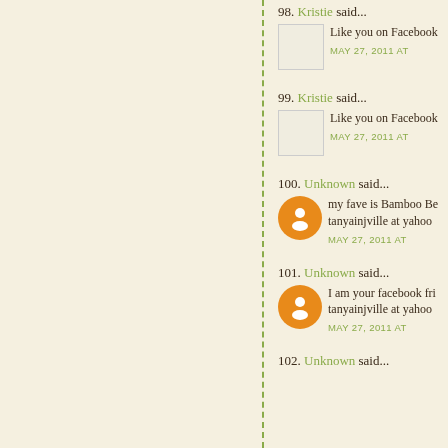98. Kristie said... Like you on Facebook MAY 27, 2011 AT
99. Kristie said... Like you on Facebook MAY 27, 2011 AT
100. Unknown said... my fave is Bamboo Be tanyainjville at yahoo MAY 27, 2011 AT
101. Unknown said... I am your facebook fri tanyainjville at yahoo MAY 27, 2011 AT
102. Unknown said...